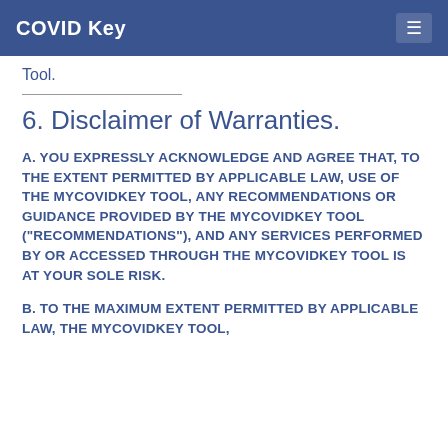COVID Key
Tool.
6. Disclaimer of Warranties.
A. YOU EXPRESSLY ACKNOWLEDGE AND AGREE THAT, TO THE EXTENT PERMITTED BY APPLICABLE LAW, USE OF THE MYCOVIDKEY TOOL, ANY RECOMMENDATIONS OR GUIDANCE PROVIDED BY THE MYCOVIDKEY TOOL ("RECOMMENDATIONS"), AND ANY SERVICES PERFORMED BY OR ACCESSED THROUGH THE MYCOVIDKEY TOOL IS AT YOUR SOLE RISK.
B. TO THE MAXIMUM EXTENT PERMITTED BY APPLICABLE LAW, THE MYCOVIDKEY TOOL, RECOMMENDATIONS, AND SERVICES ARE